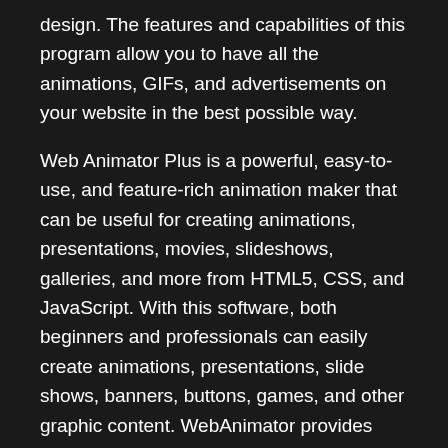design. The features and capabilities of this program allow you to have all the animations, GIFs, and advertisements on your website in the best possible way.
Web Animator Plus is a powerful, easy-to-use, and feature-rich animation maker that can be useful for creating animations, presentations, movies, slideshows, galleries, and more from HTML5, CSS, and JavaScript. With this software, both beginners and professionals can easily create animations, presentations, slide shows, banners, buttons, games, and other graphic content. WebAnimator provides you with innovative HTML5, CSS, and JavaScript technologies to create fully compatible animations accessible from any device and browser.
Main Key Features: